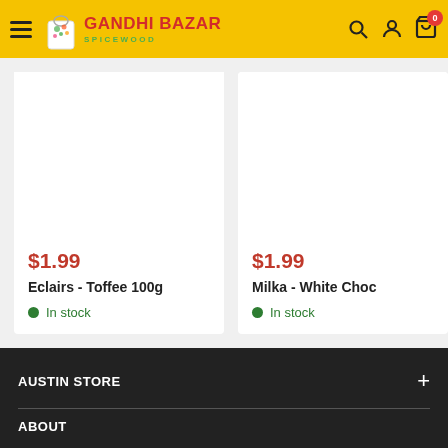Gandhi Bazar Spicewood
$1.99
Eclairs - Toffee 100g
In stock
$1.99
Milka - White Choc
In stock
AUSTIN STORE
ABOUT